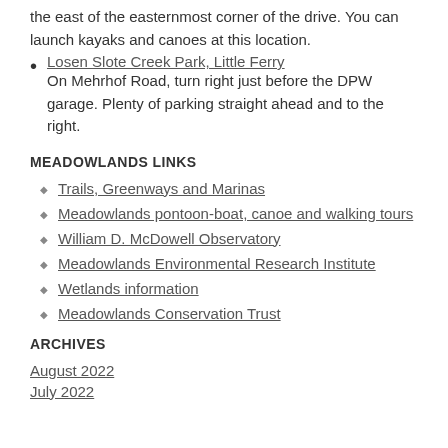the east of the easternmost corner of the drive. You can launch kayaks and canoes at this location.
Losen Slote Creek Park, Little Ferry
On Mehrhof Road, turn right just before the DPW garage. Plenty of parking straight ahead and to the right.
MEADOWLANDS LINKS
Trails, Greenways and Marinas
Meadowlands pontoon-boat, canoe and walking tours
William D. McDowell Observatory
Meadowlands Environmental Research Institute
Wetlands information
Meadowlands Conservation Trust
ARCHIVES
August 2022
July 2022